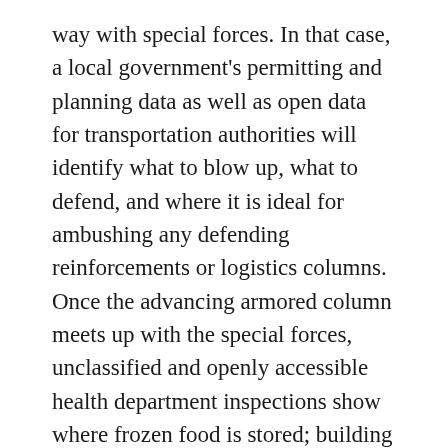way with special forces. In that case, a local government's permitting and planning data as well as open data for transportation authorities will identify what to blow up, what to defend, and where it is ideal for ambushing any defending reinforcements or logistics columns. Once the advancing armored column meets up with the special forces, unclassified and openly accessible health department inspections show where frozen food is stored; building permits show which buildings have generators; and environmental protection data points out where civilian fuels, grade and volume are stored.
Now the advancing column can get ready for